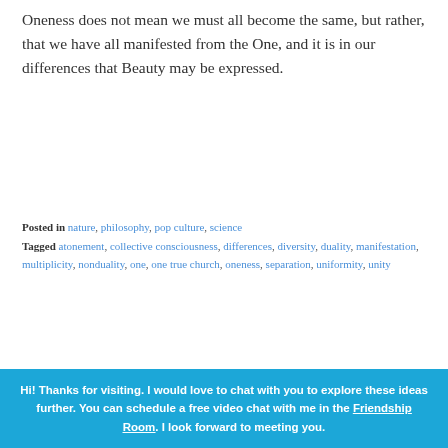Oneness does not mean we must all become the same, but rather, that we have all manifested from the One, and it is in our differences that Beauty may be expressed.
Posted in nature, philosophy, pop culture, science
Tagged atonement, collective consciousness, differences, diversity, duality, manifestation, multiplicity, nonduality, one, one true church, oneness, separation, uniformity, unity
[Figure (photo): Blue gradient image area with a white inner border rectangle, appearing as a partial banner or decorative image element]
Hi! Thanks for visiting. I would love to chat with you to explore these ideas further. You can schedule a free video chat with me in the Friendship Room. I look forward to meeting you.